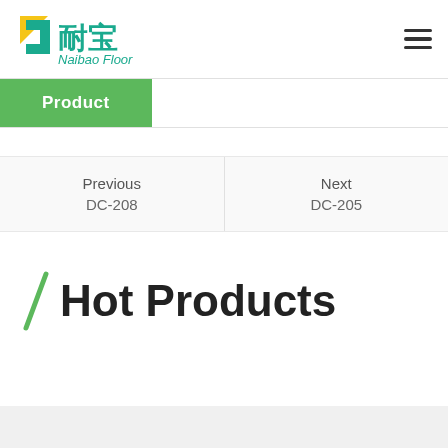耐宝 Naibao Floor
Product
Previous
DC-208
Next
DC-205
Hot Products